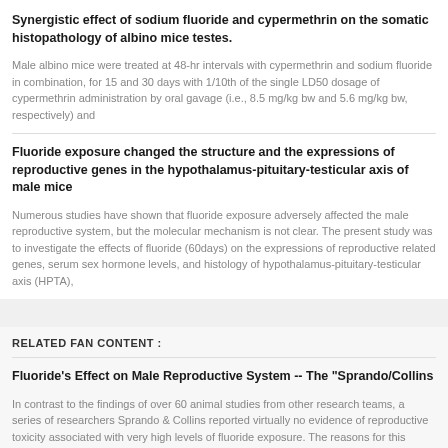Synergistic effect of sodium fluoride and cypermethrin on the somatic histopathology of albino mice testes.
Male albino mice were treated at 48-hr intervals with cypermethrin and sodium fluoride in combination, for 15 and 30 days with 1/10th of the single LD50 dosage of cypermethrin administration by oral gavage (i.e., 8.5 mg/kg bw and 5.6 mg/kg bw, respectively) and
Fluoride exposure changed the structure and the expressions of reproductive genes in the hypothalamus-pituitary-testicular axis of male mice
Numerous studies have shown that fluoride exposure adversely affected the male reproductive system, but the molecular mechanism is not clear. The present study was to investigate the effects of fluoride (60days) on the expressions of reproductive related genes, serum sex hormone levels, and histology of hypothalamus-pituitary-testicular axis (HPTA),
RELATED FAN CONTENT :
Fluoride's Effect on Male Reproductive System -- The "Sprando/Collins
In contrast to the findings of over 60 animal studies from other research teams, a series of researchers Sprando & Collins reported virtually no evidence of reproductive toxicity associated with very high levels of fluoride exposure. The reasons for this discrepancy remains u... Sprando/Collins' Studies: "This study